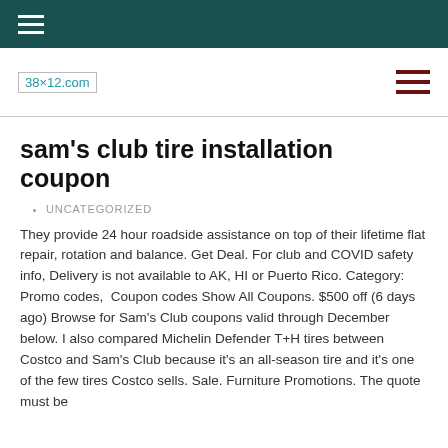☰
[Figure (logo): Site logo showing '38×12.com' text in a box, with a dark red hamburger menu icon on the right]
sam's club tire installation coupon
UNCATEGORIZED
They provide 24 hour roadside assistance on top of their lifetime flat repair, rotation and balance. Get Deal. For club and COVID safety info, Delivery is not available to AK, HI or Puerto Rico. Category:  Promo codes,  Coupon codes Show All Coupons. $500 off (6 days ago) Browse for Sam's Club coupons valid through December below. I also compared Michelin Defender T+H tires between Costco and Sam's Club because it's an all-season tire and it's one of the few tires Costco sells. Sale. Furniture Promotions. The quote must be